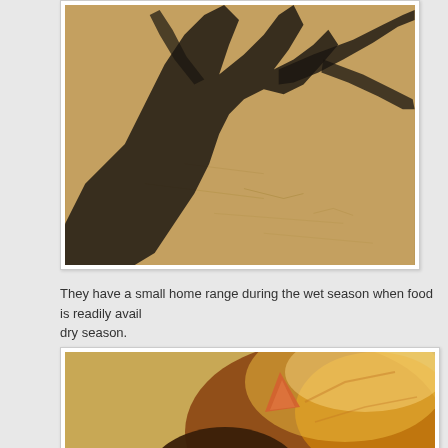[Figure (photo): Shadow of a tree or branches cast on sandy ground, showing dark silhouette of branch-like shapes on light brown sand texture.]
They have a small home range during the wet season when food is readily avail dry season.
[Figure (photo): Close-up photo of a small animal (possibly a wallaby or possum) with brown fur, pointed ears, and a small snout, backlit with warm golden light.]